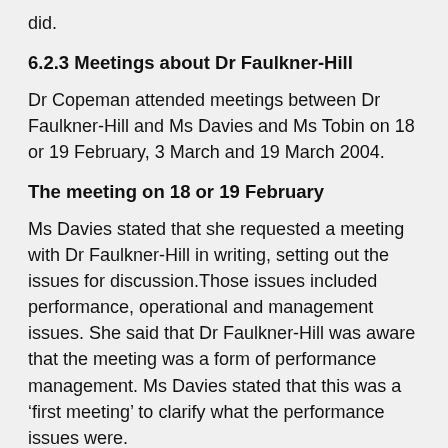did.
6.2.3 Meetings about Dr Faulkner-Hill
Dr Copeman attended meetings between Dr Faulkner-Hill and Ms Davies and Ms Tobin on 18 or 19 February, 3 March and 19 March 2004.
The meeting on 18 or 19 February
Ms Davies stated that she requested a meeting with Dr Faulkner-Hill in writing, setting out the issues for discussion.Those issues included performance, operational and management issues. She said that Dr Faulkner-Hill was aware that the meeting was a form of performance management. Ms Davies stated that this was a ‘first meeting’ to clarify what the performance issues were.
Dr Faulkner-Hill stated that she was asked to attend a meeting on 19 February 2004 with Ms Davies and Ms Tobin